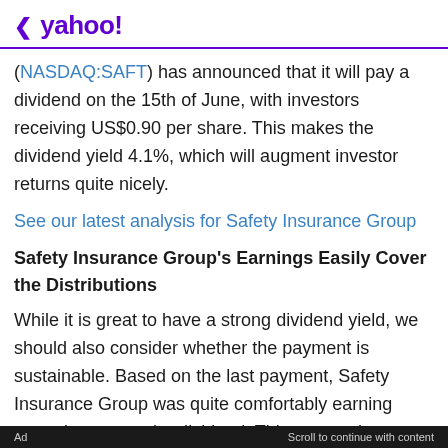< yahoo!
(NASDAQ:SAFT) has announced that it will pay a dividend on the 15th of June, with investors receiving US$0.90 per share. This makes the dividend yield 4.1%, which will augment investor returns quite nicely.
See our latest analysis for Safety Insurance Group
Safety Insurance Group's Earnings Easily Cover the Distributions
While it is great to have a strong dividend yield, we should also consider whether the payment is sustainable. Based on the last payment, Safety Insurance Group was quite comfortably earning enough to cover the dividend. This means that a large portion of its earnings are being retained to grow the business.
Ad   Scroll to continue with content